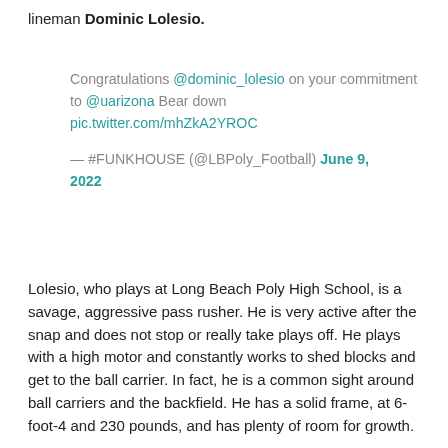lineman Dominic Lolesio.
Congratulations @dominic_lolesio on your commitment to @uarizona Bear down pic.twitter.com/mhZkA2YROC
— #FUNKHOUSE (@LBPoly_Football) June 9, 2022
Lolesio, who plays at Long Beach Poly High School, is a savage, aggressive pass rusher. He is very active after the snap and does not stop or really take plays off. He plays with a high motor and constantly works to shed blocks and get to the ball carrier. In fact, he is a common sight around ball carriers and the backfield. He has a solid frame, at 6-foot-4 and 230 pounds, and has plenty of room for growth.